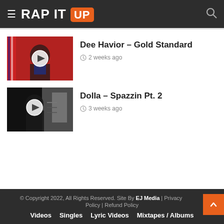RAP IT UP
[Figure (photo): Thumbnail of Dee Havior – Gold Standard video: person in red Detroit jersey against red wall, with white play button circle overlay]
Dee Havior – Gold Standard
2 weeks ago
[Figure (photo): Thumbnail of Dolla – Spazzin Pt. 2 video: dark scene with person, with white play button circle overlay]
Dolla – Spazzin Pt. 2
3 weeks ago
© Copyright 2022, All Rights Reserved. Site By EJ Media | Privacy Policy | Refund Policy
Videos  Singles  Lyric Videos  Mixtapes / Albums